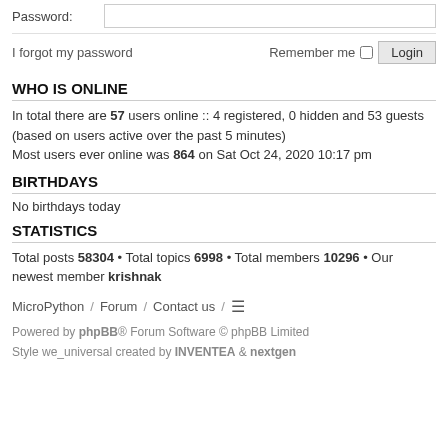Password:
I forgot my password   Remember me  Login
WHO IS ONLINE
In total there are 57 users online :: 4 registered, 0 hidden and 53 guests (based on users active over the past 5 minutes)
Most users ever online was 864 on Sat Oct 24, 2020 10:17 pm
BIRTHDAYS
No birthdays today
STATISTICS
Total posts 58304 • Total topics 6998 • Total members 10296 • Our newest member krishnak
MicroPython / Forum / Contact us / ≡
Powered by phpBB® Forum Software © phpBB Limited
Style we_universal created by INVENTEA & nextgen